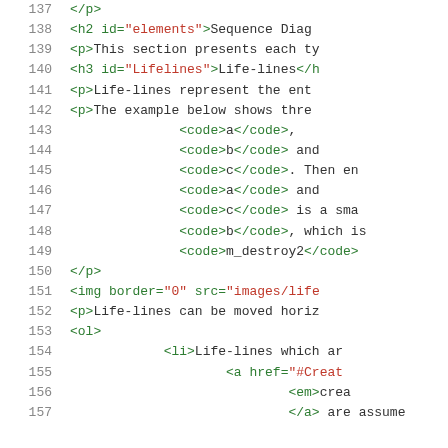Source code / HTML document viewer showing lines 137–157 of an HTML file about Sequence Diagrams and Life-lines.